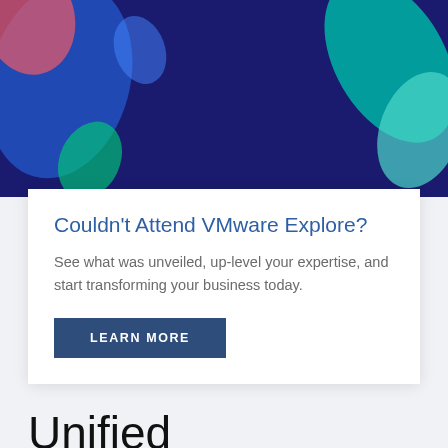[Figure (illustration): Abstract decorative header image with dark navy blue background and colorful geometric shapes in teal, blue, green, and pink/coral tones.]
Couldn't Attend VMware Explore?
See what was unveiled, up-level your expertise, and start transforming your business today.
LEARN MORE
Unified Architecture: Your Nex
Cookie Settings